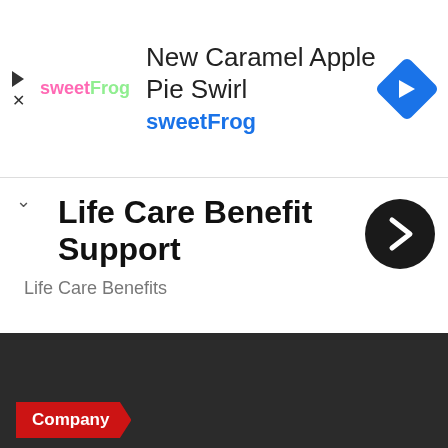[Figure (screenshot): sweetFrog ad banner with logo, text 'New Caramel Apple Pie Swirl' and 'sweetFrog', blue diamond navigation arrow on right]
Life Care Benefit Support
Life Care Benefits
[Figure (other): Empty white card section]
Company